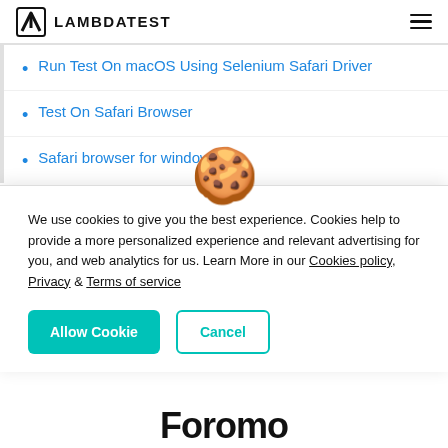LAMBDATEST
Run Test On macOS Using Selenium Safari Driver
Test On Safari Browser
Safari browser for windows
We use cookies to give you the best experience. Cookies help to provide a more personalized experience and relevant advertising for you, and web analytics for us. Learn More in our Cookies policy, Privacy & Terms of service
Allow Cookie | Cancel